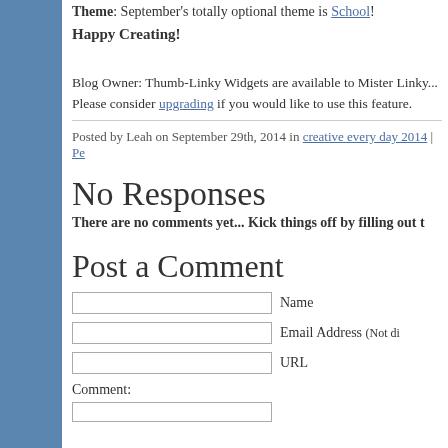Theme: September's totally optional theme is School!
Happy Creating!
Blog Owner: Thumb-Linky Widgets are available to Mister Linky... Please consider upgrading if you would like to use this feature.
Posted by Leah on September 29th, 2014 in creative every day 2014 | Pe...
No Responses
There are no comments yet... Kick things off by filling out t...
Post a Comment
Name
Email Address (Not di...
URL
Comment: